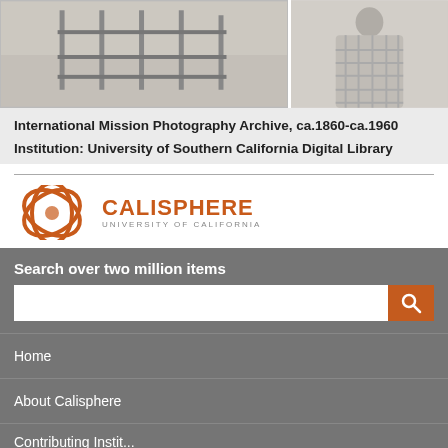[Figure (photo): Two black-and-white photographs: left shows a fence/posts in sandy area, right shows a person wrapped in a plaid blanket]
International Mission Photography Archive, ca.1860-ca.1960
Institution: University of Southern California Digital Library
[Figure (logo): Calisphere University of California logo with orange circular swoosh icon and CALISPHERE text]
Search over two million items
Home
About Calisphere
Contributing Institutions